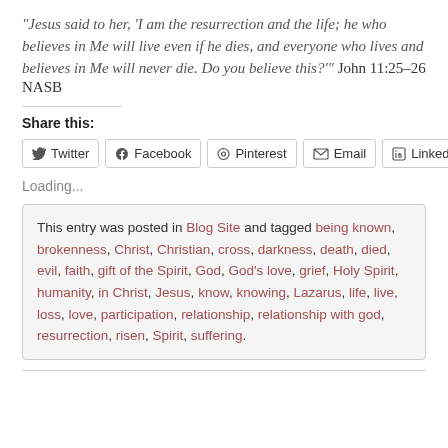“Jesus said to her, ‘I am the resurrection and the life; he who believes in Me will live even if he dies, and everyone who lives and believes in Me will never die. Do you believe this?’” John 11:25–26 NASB
Share this:
Twitter | Facebook | Pinterest | Email | LinkedIn
Loading...
This entry was posted in Blog Site and tagged being known, brokenness, Christ, Christian, cross, darkness, death, died, evil, faith, gift of the Spirit, God, God’s love, grief, Holy Spirit, humanity, in Christ, Jesus, know, knowing, Lazarus, life, live, loss, love, participation, relationship, relationship with god, resurrection, risen, Spirit, suffering.